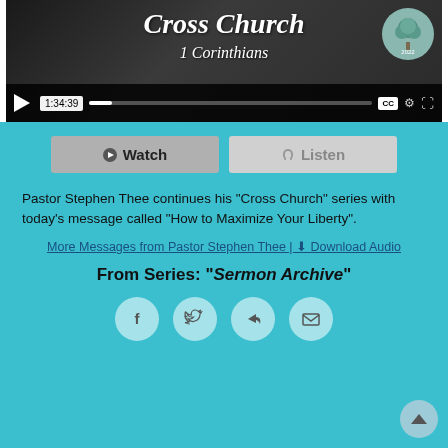[Figure (screenshot): Video player showing Cross Church 1 Corinthians sermon with playback controls showing time 1:34:39, play button, progress bar, CC button, settings icon, fullscreen icon. Video thumbnail shows 'Cross Church 1 Corinthians' title with tree logo and year 2022.]
Watch | Listen (buttons)
Pastor Stephen Thee continues his "Cross Church" series with today's message called "How to Maximize Your Liberty".
More Messages from Pastor Stephen Thee | Download Audio
From Series: "Sermon Archive"
[Figure (other): Four social sharing icon buttons in circles: Facebook, Twitter, Share/forward, Email]